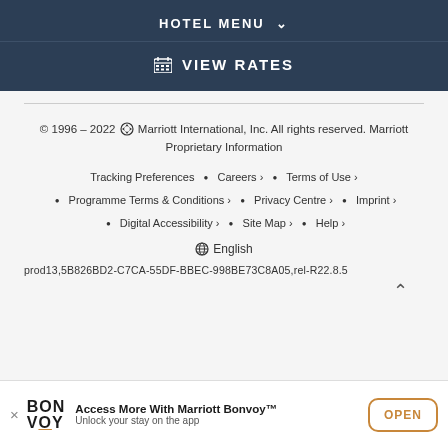HOTEL MENU
VIEW RATES
© 1996 – 2022 Marriott International, Inc. All rights reserved. Marriott Proprietary Information
Tracking Preferences • Careers › • Terms of Use ›
• Programme Terms & Conditions › • Privacy Centre › • Imprint ›
• Digital Accessibility › • Site Map › • Help ›
English
prod13,5B826BD2-C7CA-55DF-BBEC-998BE73C8A05,rel-R22.8.5
Access More With Marriott Bonvoy™ Unlock your stay on the app